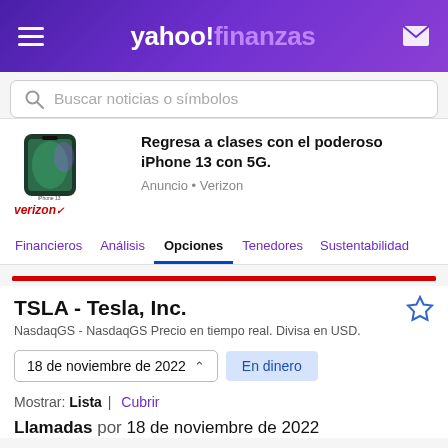yahoo! finanzas
Buscar noticias o símbolos
[Figure (screenshot): Advertisement for iPhone 13 with 5G by Verizon showing a dark green iPhone 13 phone image and Verizon logo]
Regresa a clases con el poderoso iPhone 13 con 5G.
Anuncio • Verizon
Financieros  Análisis  Opciones  Tenedores  Sustentabilidad
TSLA - Tesla, Inc.
NasdaqGS - NasdaqGS Precio en tiempo real. Divisa en USD.
18 de noviembre de 2022  En dinero
Mostrar: Lista  Cubrir
Llamadas por 18 de noviembre de 2022